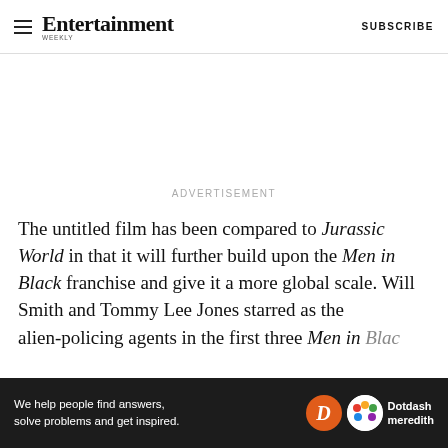Entertainment Weekly — SUBSCRIBE
ADVERTISEMENT
The untitled film has been compared to Jurassic World in that it will further build upon the Men in Black franchise and give it a more global scale. Will Smith and Tommy Lee Jones starred as the alien-policing agents in the first three Men in Black films, with a focus on ne
[Figure (other): Dotdash Meredith advertisement overlay banner: 'We help people find answers, solve problems and get inspired.' with D logo and colorful dots circle logo]